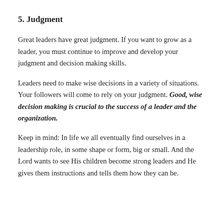5. Judgment
Great leaders have great judgment. If you want to grow as a leader, you must continue to improve and develop your judgment and decision making skills.
Leaders need to make wise decisions in a variety of situations. Your followers will come to rely on your judgment. Good, wise decision making is crucial to the success of a leader and the organization.
Keep in mind: In life we all eventually find ourselves in a leadership role, in some shape or form, big or small. And the Lord wants to see His children become strong leaders and He gives them instructions and tells them how they can be.